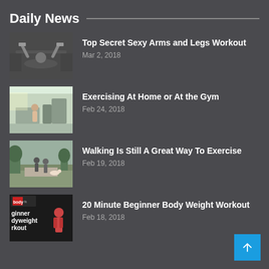Daily News
Top Secret Sexy Arms and Legs Workout
Mar 2, 2018
Exercising At Home or At the Gym
Feb 24, 2018
Walking Is Still A Great Way To Exercise
Feb 19, 2018
20 Minute Beginner Body Weight Workout
Feb 18, 2018